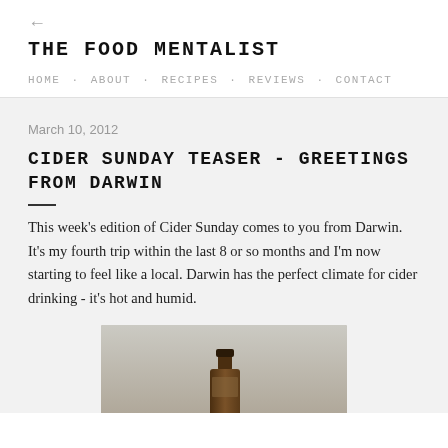← THE FOOD MENTALIST — HOME · ABOUT · RECIPES · REVIEWS · CONTACT
March 10, 2012
CIDER SUNDAY TEASER - GREETINGS FROM DARWIN
This week's edition of Cider Sunday comes to you from Darwin. It's my fourth trip within the last 8 or so months and I'm now starting to feel like a local. Darwin has the perfect climate for cider drinking - it's hot and humid.
[Figure (photo): Photo of a dark bottle, partially shown at bottom of page]